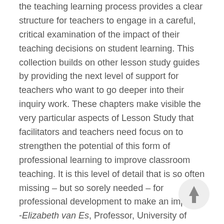the teaching learning process provides a clear structure for teachers to engage in a careful, critical examination of the impact of their teaching decisions on student learning. This collection builds on other lesson study guides by providing the next level of support for teachers who want to go deeper into their inquiry work. These chapters make visible the very particular aspects of Lesson Study that facilitators and teachers need focus on to strengthen the potential of this form of professional learning to improve classroom teaching. It is this level of detail that is so often missing – but so sorely needed – for professional development to make an impact." -Elizabeth van Es, Professor, University of California, Irvine, USA